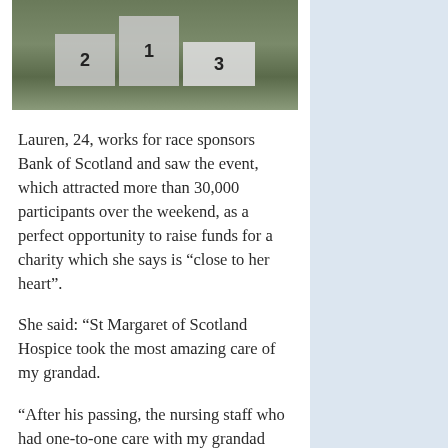[Figure (photo): Photo of a race podium with positions 1, 2, and 3 marked on blocks, set on grass outdoors.]
Lauren, 24, works for race sponsors Bank of Scotland and saw the event, which attracted more than 30,000 participants over the weekend, as a perfect opportunity to raise funds for a charity which she says is “close to her heart”.
She said: “St Margaret of Scotland Hospice took the most amazing care of my grandad.
“After his passing, the nursing staff who had one-to-one care with my grandad regularly contacted my nana and my family to see how we were all doing, which I thought was incredibly